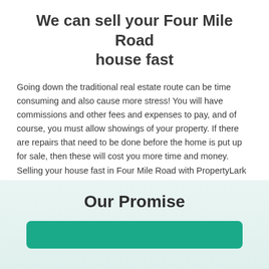We can sell your Four Mile Road house fast
Going down the traditional real estate route can be time consuming and also cause more stress! You will have commissions and other fees and expenses to pay, and of course, you must allow showings of your property. If there are repairs that need to be done before the home is put up for sale, then these will cost you more time and money. Selling your house fast in Four Mile Road with PropertyLark is the answer when you aren't in a position to go through a traditional real estate sale.
Our Promise